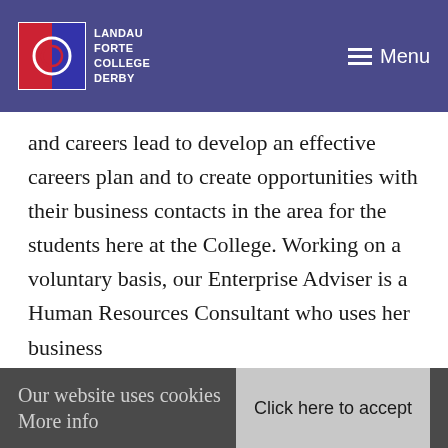Landau Forte College Derby — Menu
Enterprise Advisers use their landscape to support the principal and careers lead to develop an effective careers plan and to create opportunities with their business contacts in the area for the students here at the College. Working on a voluntary basis, our Enterprise Adviser is a Human Resources Consultant who uses her business
Our website uses cookies More info
Click here to accept